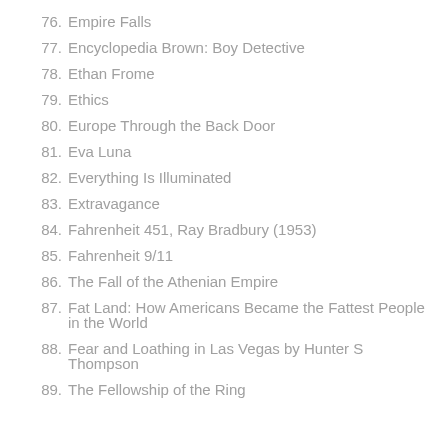76. Empire Falls
77. Encyclopedia Brown: Boy Detective
78. Ethan Frome
79. Ethics
80. Europe Through the Back Door
81. Eva Luna
82. Everything Is Illuminated
83. Extravagance
84. Fahrenheit 451, Ray Bradbury (1953)
85. Fahrenheit 9/11
86. The Fall of the Athenian Empire
87. Fat Land: How Americans Became the Fattest People in the World
88. Fear and Loathing in Las Vegas by Hunter S Thompson
89. The Fellowship of the Ring